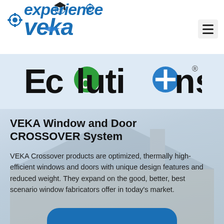[Figure (logo): Experience VEKA logo — stylized text with gears, globe, and graduation cap in blue]
[Figure (logo): Ecolutions logo — bold black text with green hexagon 'o' and blue cross 'o', registered trademark symbol]
VEKA Window and Door CROSSOVER System
VEKA Crossover products are optimized, thermally high-efficient windows and doors with unique design features and reduced weight. They expand on the good, better, best scenario window fabricators offer in today's market.